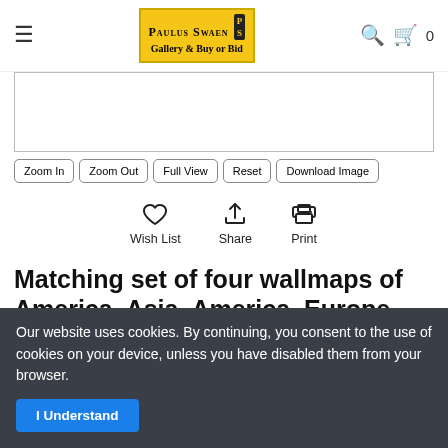Paulus Swaen Gallery & Buy or Bid
[Figure (screenshot): Image viewer box with white background and border]
Zoom In
Zoom Out
Full View
Reset
Download Image
[Figure (infographic): Three action icons: Wish List (heart), Share (upload arrow), Print (printer)]
Matching set of four wallmaps of America, Asia, America, Europe
Our website uses cookies. By continuing, you consent to the use of cookies on your device, unless you have disabled them from your browser.
I Understand